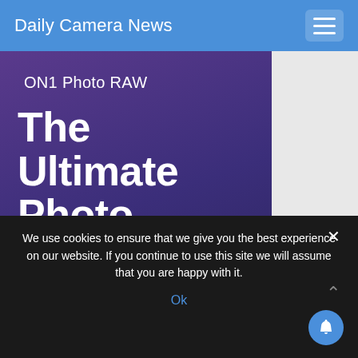Daily Camera News
[Figure (screenshot): ON1 Photo RAW advertisement banner showing 'The Ultimate Photo Editor' with 'New Version 2022' subtitle and 'Buy Now' button, on a dark purple-blue gradient background]
We use cookies to ensure that we give you the best experience on our website. If you continue to use this site we will assume that you are happy with it.
Ok